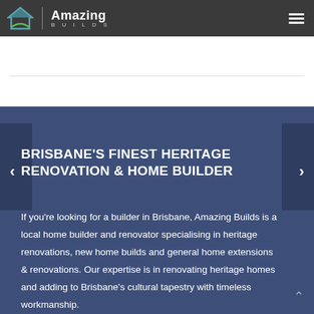Amazing Builds — navigation header with logo and menu icon
BRISBANE'S FINEST HERITAGE RENOVATION & HOME BUILDER
If you're looking for a builder in Brisbane, Amazing Builds is a local home builder and renovator specialising in heritage renovations, new home builds and general home extensions & renovations. Our expertise is in renovating heritage homes and adding to Brisbane's cultural tapestry with timeless workmanship.